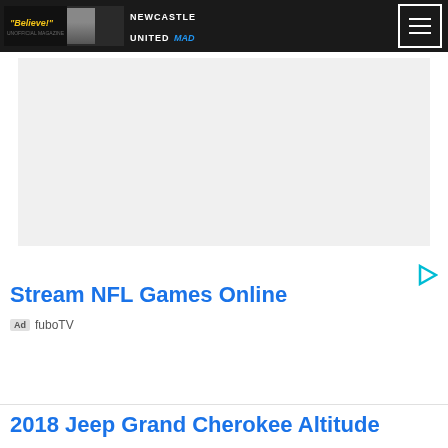Newcastle United MAD
[Figure (other): Gray placeholder advertisement box]
[Figure (other): Play button icon (triangle outline) in teal/cyan color]
Stream NFL Games Online
Ad fuboTV
2018 Jeep Grand Cherokee Altitude